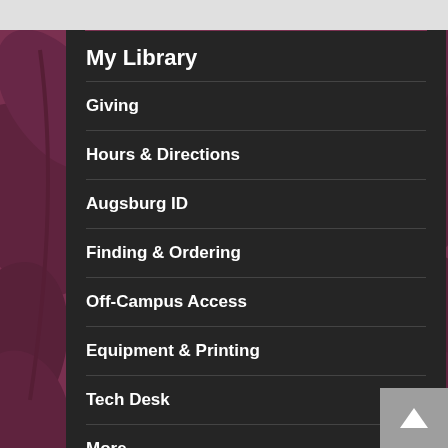My Library
Giving
Hours & Directions
Augsburg ID
Finding & Ordering
Off-Campus Access
Equipment & Printing
Tech Desk
More...